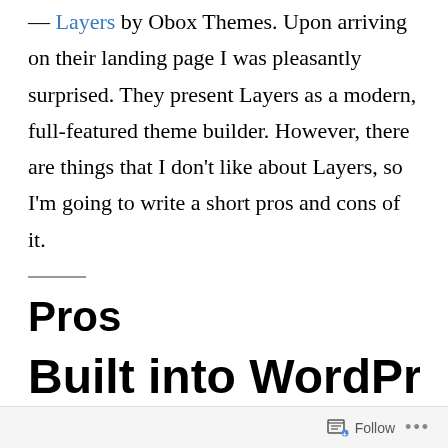— Layers by Obox Themes. Upon arriving on their landing page I was pleasantly surprised. They present Layers as a modern, full-featured theme builder. However, there are things that I don't like about Layers, so I'm going to write a short pros and cons of it.
Pros
Built into WordPress
Follow